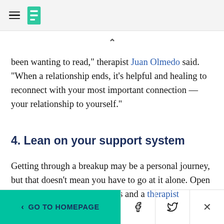HuffPost navigation logo
been wanting to read," therapist Juan Olmedo said. “When a relationship ends, it’s helpful and healing to reconnect with your most important connection — your relationship to yourself.”
4. Lean on your support system
Getting through a breakup may be a personal journey, but that doesn’t mean you have to go at it alone. Open up to friends, family members and a therapist
< GO TO HOMEPAGE | Facebook | Twitter | X